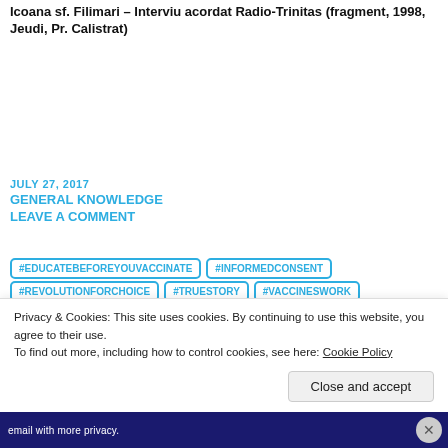Icoana sf. Filimari – Interviu acordat Radio-Trinitas (fragment, 1998, Jeudi, Pr. Calistrat)
JULY 27, 2017
GENERAL KNOWLEDGE
LEAVE A COMMENT
#EDUCATEBEFOREYOUVACCINATE
#INFORMEDCONSENT
#REVOLUTIONFORCHOICE
#TRUESTORY
#VACCINESWORK
#VACCINI
#VAXISM
$25.000
-
000
1990-2010
1998
2016
2017
20TH
25
67-COUNTRY
2
A
Privacy & Cookies: This site uses cookies. By continuing to use this website, you agree to their use. To find out more, including how to control cookies, see here: Cookie Policy
Close and accept
email with more privacy.